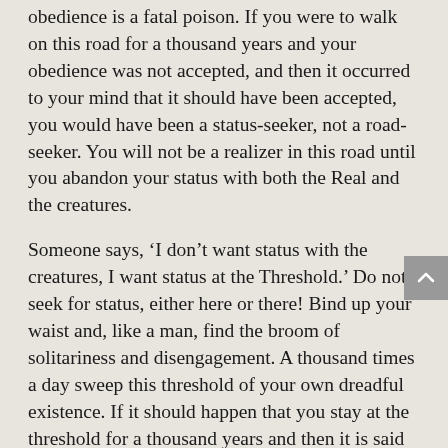obedience is a fatal poison. If you were to walk on this road for a thousand years and your obedience was not accepted, and then it occurred to your mind that it should have been accepted, you would have been a status-seeker, not a road-seeker. You will not be a realizer in this road until you abandon your status with both the Real and the creatures.
Someone says, ‘I don’t want status with the creatures, I want status at the Threshold.’ Do not seek for status, either here or there! Bind up your waist and, like a man, find the broom of solitariness and disengagement. A thousand times a day sweep this threshold of your own dreadful existence. If it should happen that you stay at the threshold for a thousand years and then it is said to you, ‘Go, for you are not worthy of Me,’ you will have been given your due.[17]